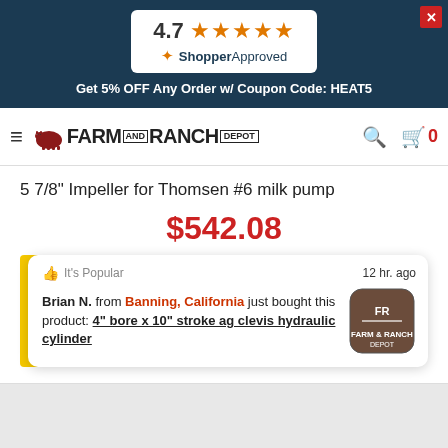[Figure (other): ShopperApproved rating widget showing 4.7 stars with 5 orange stars]
Get 5% OFF Any Order w/ Coupon Code: HEAT5
[Figure (logo): Farm and Ranch Depot logo with cow icon, hamburger menu, search icon, and cart icon showing 0]
5 7/8" Impeller for Thomsen #6 milk pump
$542.08
It's Popular   12 hr. ago
Brian N. from Banning, California just bought this product: 4" bore x 10" stroke ag clevis hydraulic cylinder